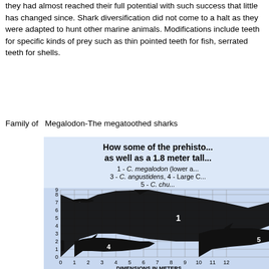they had almost reached their full potential with such success that little has changed since. Shark diversification did not come to a halt as they were adapted to hunt other marine animals. Modifications include teeth for specific kinds of prey such as thin pointed teeth for fish, serrated teeth for shells.
Family of  Megalodon-The megatoothed sharks
[Figure (infographic): Size comparison chart titled 'How some of the prehistoric sharks compare as well as a 1.8 meter tall human'. Shows silhouettes of 1 - C. megalodon (lower a...), 3 - C. angustidens, 4 - Large C..., 5 - C. chu... plotted on a grid with y-axis 0-9 and x-axis 0-12 labeled DIMENSIONS IN METERS.]